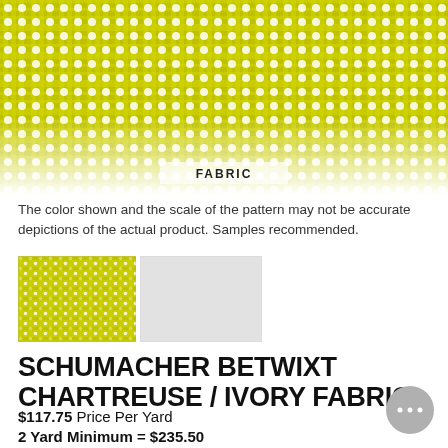[Figure (photo): Close-up photograph of chartreuse/yellow-green woven fabric with a geometric dot/lattice pattern, fading to white at the bottom. Label 'FABRIC' overlaid at bottom of image.]
The color shown and the scale of the pattern may not be accurate depictions of the actual product. Samples recommended.
[Figure (illustration): Two color swatches: left is chartreuse/yellow-green woven fabric swatch, right is a plain ivory/light grey swatch.]
SCHUMACHER BETWIXT CHARTREUSE / IVORY FABRIC
$117.75 Price Per Yard
2 Yard Minimum = $235.50